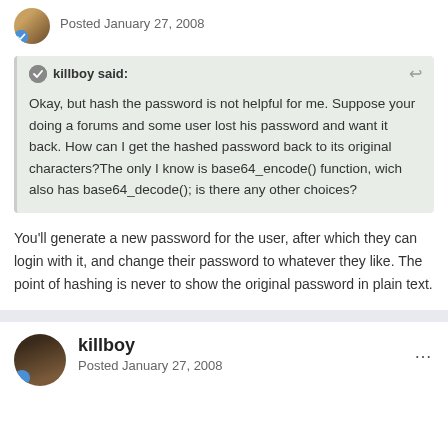Posted January 27, 2008
killboy said:
Okay, but hash the password is not helpful for me. Suppose your doing a forums and some user lost his password and want it back. How can I get the hashed password back to its original characters?The only I know is base64_encode() function, wich also has base64_decode(); is there any other choices?
You'll generate a new password for the user, after which they can login with it, and change their password to whatever they like. The point of hashing is never to show the original password in plain text.
killboy
Posted January 27, 2008